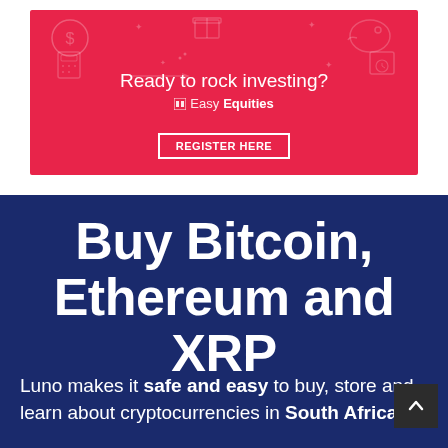[Figure (infographic): EasyEquities advertisement banner with red background, icons (dollar sign, gift, piggy bank, calculator, calendar), text 'Ready to rock investing?', EasyEquities logo, and a 'REGISTER HERE' button.]
Buy Bitcoin, Ethereum and XRP
Luno makes it safe and easy to buy, store and learn about cryptocurrencies in South Africa